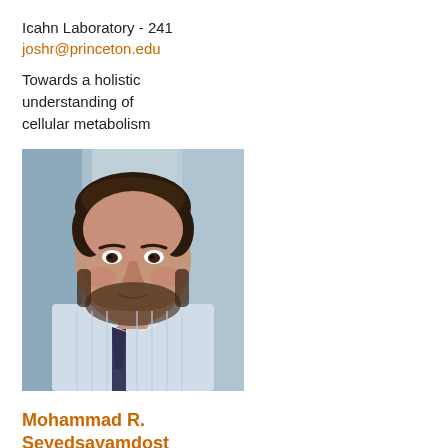Icahn Laboratory - 241
joshr@princeton.edu
Towards a holistic understanding of cellular metabolism
[Figure (photo): Headshot portrait of a young man with dark curly hair and a beard, wearing a light blue striped button-up shirt and dark tie, photographed against a blurred indoor background.]
Mohammad R. Seyedsayamdost
Frick Chemistry Laboratory - 333